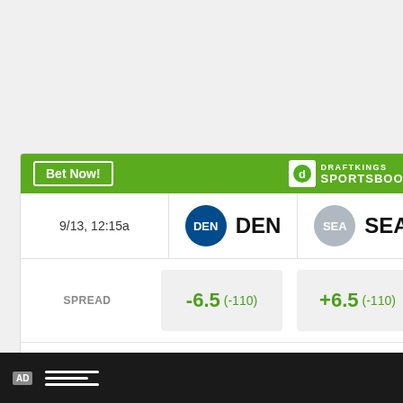[Figure (infographic): DraftKings Sportsbook odds card for DEN vs SEA game on 9/13 12:15a. Shows spread (-6.5 / +6.5 both -110), money line (-250 / +210), and over/under (>42 -110 / <42 -110). Green header with Bet Now button and DraftKings Sportsbook logo.]
Odds/Lines subject to change. See draftkings.com for details.